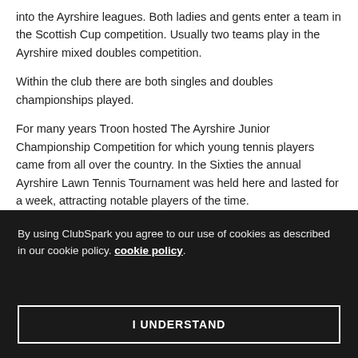into the Ayrshire leagues. Both ladies and gents enter a team in the Scottish Cup competition. Usually two teams play in the Ayrshire mixed doubles competition.
Within the club there are both singles and doubles championships played.
For many years Troon hosted The Ayrshire Junior Championship Competition for which young tennis players came from all over the country. In the Sixties the annual Ayrshire Lawn Tennis Tournament was held here and lasted for a week, attracting notable players of the time.
Juniors and Coaching
By using ClubSpark you agree to our use of cookies as described in our cookie policy. cookie policy.
I UNDERSTAND